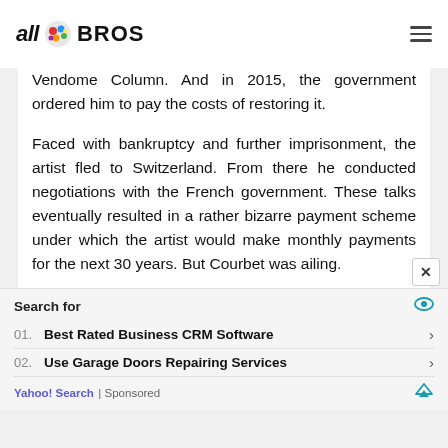all BROS
Vendome Column. And in 2015, the government ordered him to pay the costs of restoring it.

Faced with bankruptcy and further imprisonment, the artist fled to Switzerland. From there he conducted negotiations with the French government. These talks eventually resulted in a rather bizarre payment scheme under which the artist would make monthly payments for the next 30 years. But Courbet was ailing.
01. Best Rated Business CRM Software
02. Use Garage Doors Repairing Services
Yahoo! Search | Sponsored